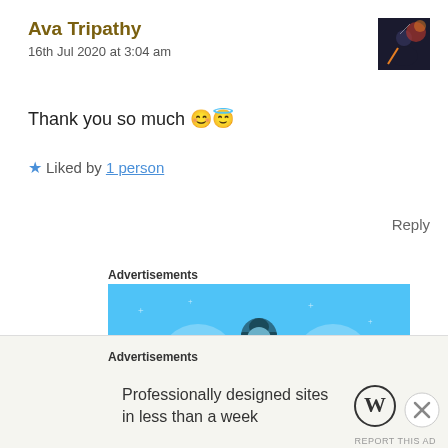Ava Tripathy
16th Jul 2020 at 3:04 am
[Figure (photo): Avatar image with dark silhouette and orange/red sky]
Thank you so much 😊😇
★ Liked by 1 person
Reply
Advertisements
[Figure (illustration): Day One app advertisement banner with blue background, person figure and notebook icons]
Advertisements
Professionally designed sites in less than a week